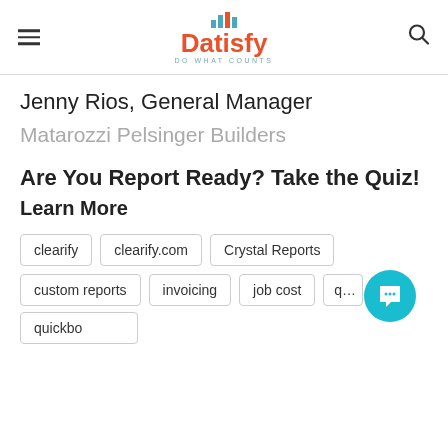Datisfy — DO WHAT COUNTS
Jenny Rios, General Manager
Matarozzi Pelsinger Builders
Are You Report Ready? Take the Quiz!
Learn More
clearify  clearify.com  Crystal Reports  custom reports  invoicing  job cost  q…